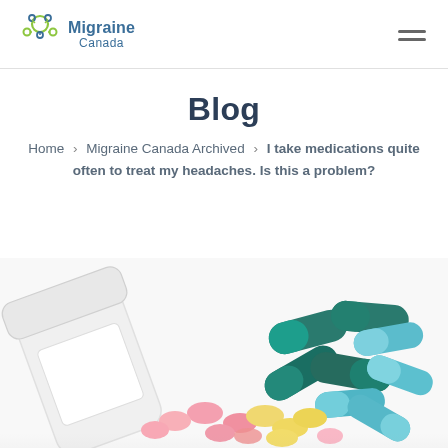Migraine Canada
Blog
Home > Migraine Canada Archived > I take medications quite often to treat my headaches. Is this a problem?
[Figure (photo): A white pill bottle tipped on its side with various coloured capsules and tablets spilling out — teal/green capsules, light blue capsules, pink and yellow tablets — on a white background.]